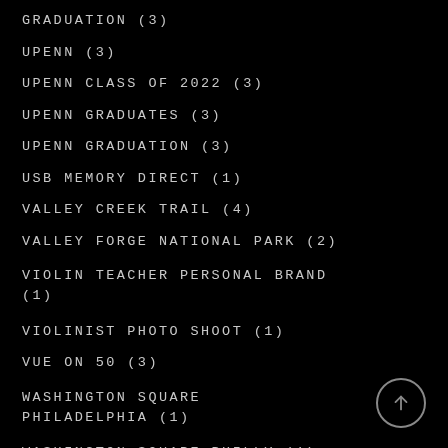GRADUATION (3)
UPENN (3)
UPENN CLASS OF 2022 (3)
UPENN GRADUATES (3)
UPENN GRADUATION (3)
USB MEMORY DIRECT (1)
VALLEY CREEK TRAIL (4)
VALLEY FORGE NATIONAL PARK (2)
VIOLIN TEACHER PERSONAL BRAND (1)
VIOLINIST PHOTO SHOOT (1)
VUE ON 50 (3)
WASHINGTON SQUARE PHILADELPHIA (1)
WASHINGTON SQUARE PHILLY (1)
WASHINGTON SQUARE PHOEBS...